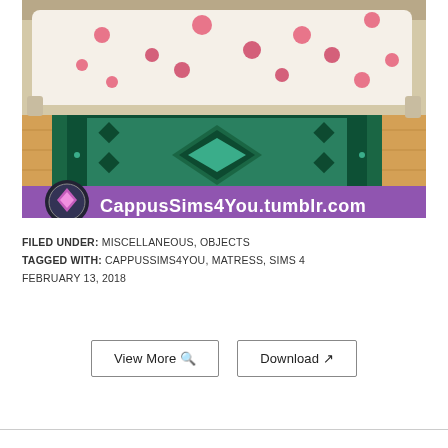[Figure (screenshot): Screenshot from The Sims 4 showing a bedroom with a decorative green geometric rug on wooden floor, partially under a white bed with pink heart pattern bedding. A watermark reads 'CappusSims4You.tumblr.com' with a purple gem logo on a purple banner at the bottom of the image.]
FILED UNDER: MISCELLANEOUS, OBJECTS
TAGGED WITH: CAPPUSSIMS4YOU, MATRESS, SIMS 4
FEBRUARY 13, 2018
View More 🔍
Download ↗